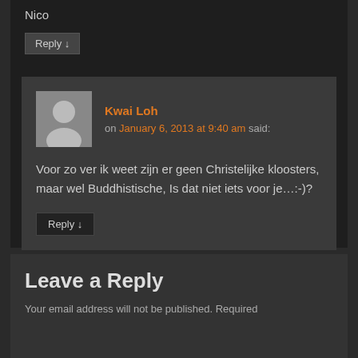Nico
Reply ↓
Kwai Loh on January 6, 2013 at 9:40 am said:
Voor zo ver ik weet zijn er geen Christelijke kloosters, maar wel Buddhistische, Is dat niet iets voor je…:-)?
Reply ↓
Leave a Reply
Your email address will not be published. Required